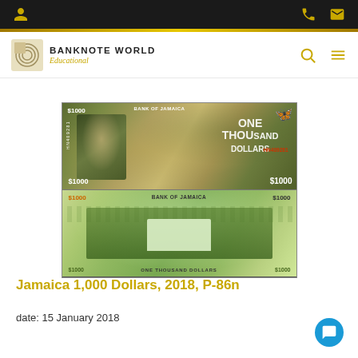Banknote World Educational - navigation bar with logo, search, and menu icons
[Figure (photo): Front and back of Jamaica 1000 Dollars banknote, 2018, P-86n. Front shows portrait of a man, 'BANK OF JAMAICA', 'ONE THOUSAND DOLLARS', serial number HN409281, butterfly watermark. Back shows a building with palm trees, 'BANK OF JAMAICA', 'ONE THOUSAND DOLLARS'.]
Jamaica 1,000 Dollars, 2018, P-86n
date: 15 January 2018